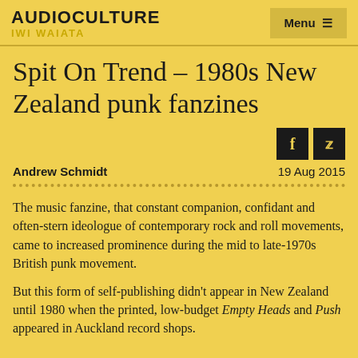AUDIOCULTURE IWI WAIATA
Spit On Trend – 1980s New Zealand punk fanzines
Andrew Schmidt   19 Aug 2015
The music fanzine, that constant companion, confidant and often-stern ideologue of contemporary rock and roll movements, came to increased prominence during the mid to late-1970s British punk movement.
But this form of self-publishing didn't appear in New Zealand until 1980 when the printed, low-budget Empty Heads and Push appeared in Auckland record shops.